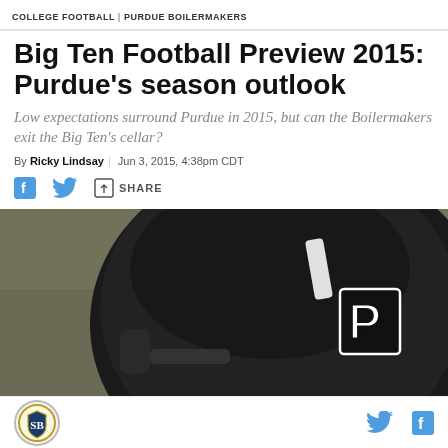COLLEGE FOOTBALL | PURDUE BOILERMAKERS
Big Ten Football Preview 2015: Purdue's season outlook
Low expectations surround Purdue in 2015, but can the Boilermakers exit the Big Ten's cellar?
By Ricky Lindsay | Jun 3, 2015, 4:38pm CDT
[Figure (other): Share bar with Facebook, Twitter, and share icons]
[Figure (photo): Close-up of a person wearing a black Purdue Boilermakers football helmet with the P logo visible]
[Figure (logo): Circular logo in bottom left, Twitter and Facebook icons in bottom right]